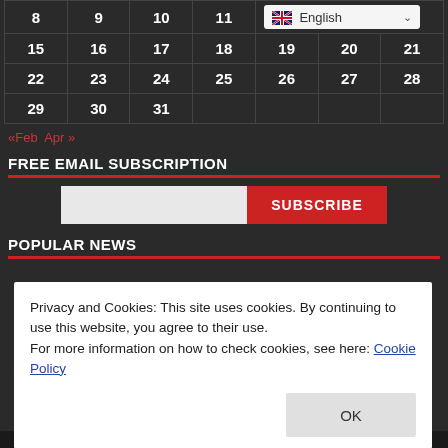|  |  |  |  |  |  |  |
| --- | --- | --- | --- | --- | --- | --- |
| 8 | 9 | 10 | 11 | English (dropdown) |  |  |
| 15 | 16 | 17 | 18 | 19 | 20 | 21 |
| 22 | 23 | 24 | 25 | 26 | 27 | 28 |
| 29 | 30 | 31 |  |  |  |  |
«Feb   Apr »
FREE EMAIL SUBSCRIPTION
SUBSCRIBE (button)
POPULAR NEWS
Privacy and Cookies: This site uses cookies. By continuing to use this website, you agree to their use.
For more information on how to check cookies, see here: Cookie Policy
OK